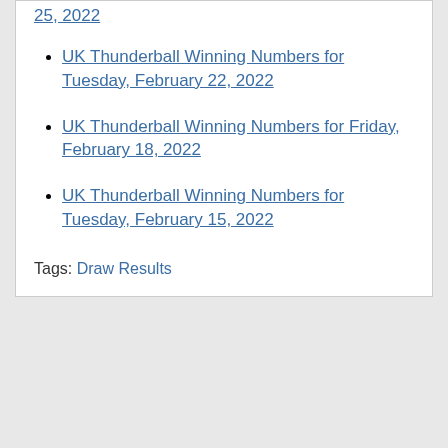25, 2022
UK Thunderball Winning Numbers for Tuesday, February 22, 2022
UK Thunderball Winning Numbers for Friday, February 18, 2022
UK Thunderball Winning Numbers for Tuesday, February 15, 2022
Tags: Draw Results